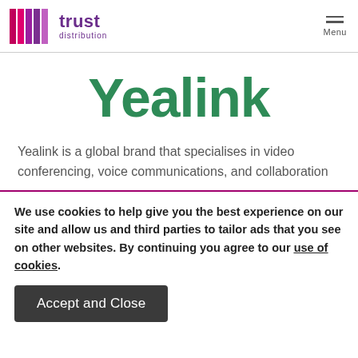trust distribution | Menu
[Figure (logo): Yealink green logo text]
Yealink is a global brand that specialises in video conferencing, voice communications, and collaboration
We use cookies to help give you the best experience on our site and allow us and third parties to tailor ads that you see on other websites. By continuing you agree to our use of cookies.
Accept and Close